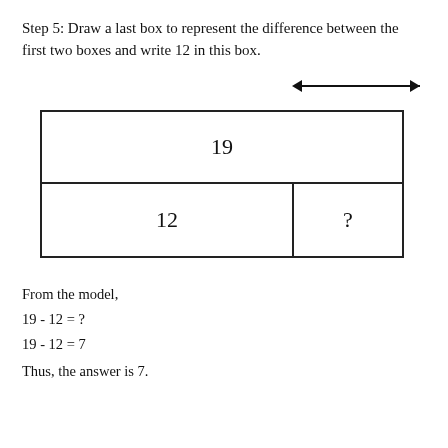Step 5: Draw a last box to represent the difference between the first two boxes and write 12 in this box.
[Figure (schematic): A double-headed arrow pointing left and right above a two-row box diagram. The top row spans the full width and contains '19'. The bottom row is split into two cells: left cell contains '12', right cell contains '?'.]
From the model,
19 - 12 = ?
19 - 12 = 7
Thus, the answer is 7.